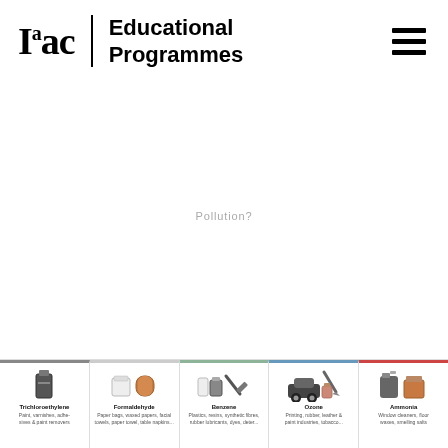Iaac | Educational Programmes
Pollution?
[Figure (infographic): Bottom strip showing 5 chemical pollutants: Trichloroethylene, Formaldehyde, Benzene, Ozone, Ammonia with small icons and descriptions of products they are found in.]
Trichloroethylene - Paint, varnishes, adhesives & paint removers
Formaldehyde - Paper bags, waxed papers, facial towels, paper towel, table napkins...
Benzene - Plastics, resins, synthetic fibres, rubber lubricants, dyes, deter...
Ozone - Printing, rubber, leather & paint industries, tobacco...
Ammonia - Window cleaners, floor waxes, smelling salts